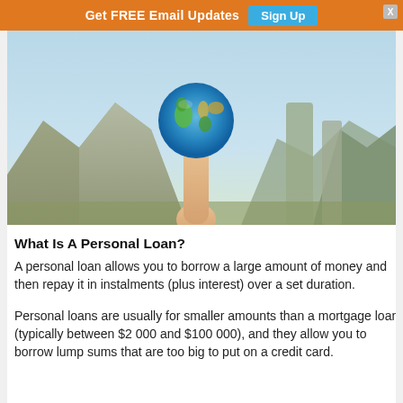Get FREE Email Updates  Sign Up
[Figure (photo): A hand holding a small globe/Earth ball up against a blue sky with mountains in the background]
What Is A Personal Loan?
A personal loan allows you to borrow a large amount of money and then repay it in instalments (plus interest) over a set duration.
Personal loans are usually for smaller amounts than a mortgage loan (typically between $2 000 and $100 000), and they allow you to borrow lump sums that are too big to put on a credit card.